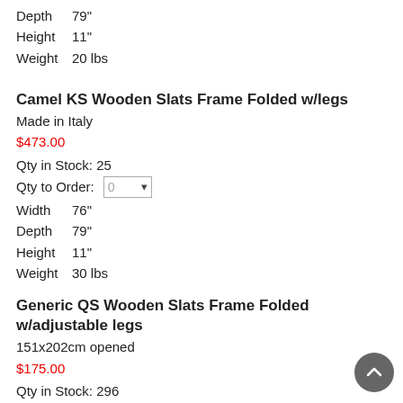Depth  79
Height  11"
Weight  20 lbs
Camel KS Wooden Slats Frame Folded w/legs
Made in Italy
$473.00
Qty in Stock: 25
Qty to Order: 0
Width  76"
Depth  79"
Height  11"
Weight  30 lbs
Generic QS Wooden Slats Frame Folded w/adjustable legs
151x202cm opened
$175.00
Qty in Stock: 296
Qty to Order: 0
Width  60"
Depth  79"
Height  11"
Weight  20 lbs